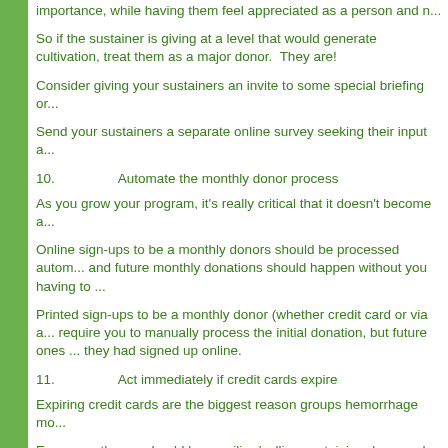importance, while having them feel appreciated as a person and n...
So if the sustainer is giving at a level that would generate cultivation, treat them as a major donor.  They are!
Consider giving your sustainers an invite to some special briefing or...
Send your sustainers a separate online survey seeking their input a...
10.        Automate the monthly donor process
As you grow your program, it's really critical that it doesn't become a...
Online sign-ups to be a monthly donors should be processed autom... and future monthly donations should happen without you having to ...
Printed sign-ups to be a monthly donor (whether credit card or via a... require you to manually process the initial donation, but future ones ... they had signed up online.
11.        Act immediately if credit cards expire
Expiring credit cards are the biggest reason groups hemorrhage mo...
Every month, you should be emailing/calling sustaining donors who ... update their credit card expiration.
12.        Ask sustaining donors to increase their giving
...